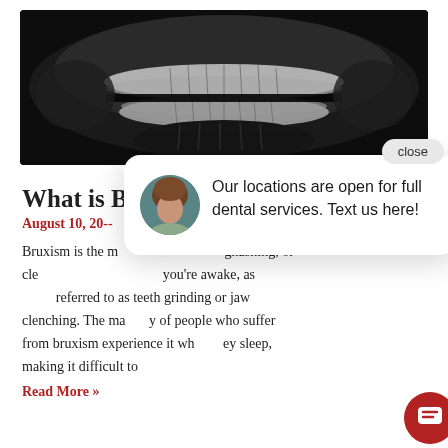[Figure (photo): Panoramic dental X-ray showing upper and lower teeth in black and white]
What is Bruxism?
August 10, 20--
Bruxism is the m... gnashing, or cle... you're awake, as... referred to as teeth grinding or jaw clenching. The majority of people who suffer from bruxism experience it while they sleep, making it difficult to
Read More »
[Figure (screenshot): Chat popup overlay: Avatar of a woman with text 'Our locations are open for full dental services. Text us here!' and a close button. Red chat bubble icon in corner.]